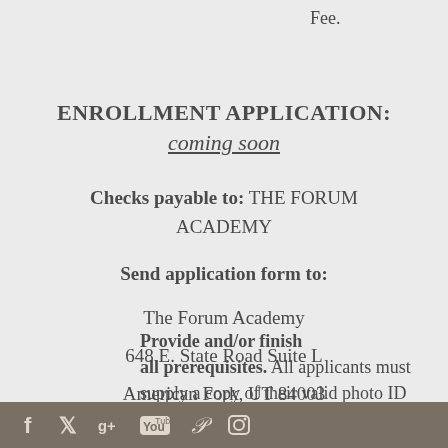Fee.
ENROLLMENT APPLICATION:
coming soon
Checks payable to: THE FORUM ACADEMY
Send application form to:
The Forum Academy
648 E. State Road Suite L
American Fork, UT 84003
Provide and/or finish all prerequisites. All applicants must supply a copy of their valid photo ID
Social media icons: Facebook, Twitter, Google+, YouTube, Pinterest, Instagram